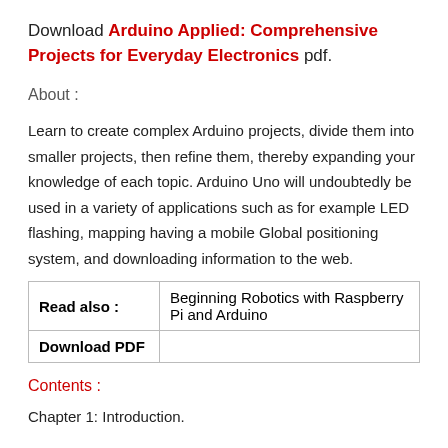Download Arduino Applied: Comprehensive Projects for Everyday Electronics pdf.
About :
Learn to create complex Arduino projects, divide them into smaller projects, then refine them, thereby expanding your knowledge of each topic. Arduino Uno will undoubtedly be used in a variety of applications such as for example LED flashing, mapping having a mobile Global positioning system, and downloading information to the web.
| Read also : | Beginning Robotics with Raspberry Pi and Arduino |
| Download PDF |  |
Contents :
Chapter 1: Introduction.
Chapter 2: ...